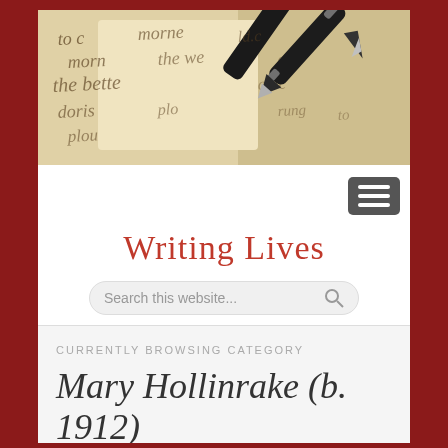[Figure (photo): Banner image showing handwritten cursive text on aged paper with a black fountain pen resting on top]
Writing Lives
Search this website...
CURRENTLY BROWSING CATEGORY
Mary Hollinrake (b. 1912)